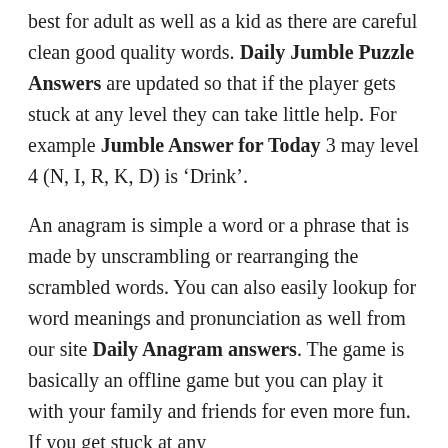best for adult as well as a kid as there are careful clean good quality words. Daily Jumble Puzzle Answers are updated so that if the player gets stuck at any level they can take little help. For example Jumble Answer for Today 3 may level 4 (N, I, R, K, D) is ‘Drink’.
An anagram is simple a word or a phrase that is made by unscrambling or rearranging the scrambled words. You can also easily lookup for word meanings and pronunciation as well from our site Daily Anagram answers. The game is basically an offline game but you can play it with your family and friends for even more fun. If you get stuck at any